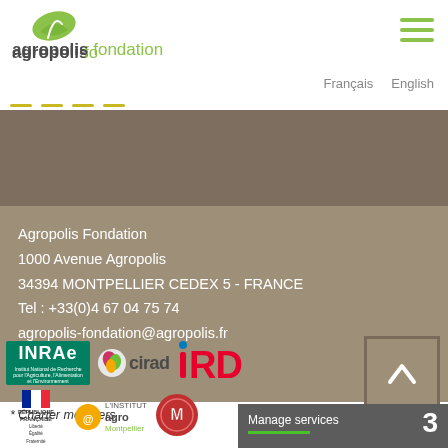[Figure (logo): Agropolis Fondation logo with green leaf and text]
[Figure (logo): Hamburger menu icon (three green lines)]
Français  English
[Figure (infographic): Taupe/brown horizontal band used as hero image background]
Agropolis Fondation
1000 Avenue Agropolis
34394 MONTPELLIER CEDEX 5 - FRANCE
Tel : +33(0)4 67 04 75 74
agropolis-fondation@agropolis.fr
* Charter members
[Figure (logo): INRAE logo (green background, white text)]
[Figure (logo): CIRAD logo (green leaf with orange/pink, cirad text)]
[Figure (logo): IRD logo (red stylized letters)]
[Figure (logo): République Française logo (blue/white/red flag)]
[Figure (logo): L'Institut agro Montpellier logo]
[Figure (logo): Circular red logo (unreadable text)]
[Figure (other): Scroll-to-top button with upward chevron]
Manage services  3